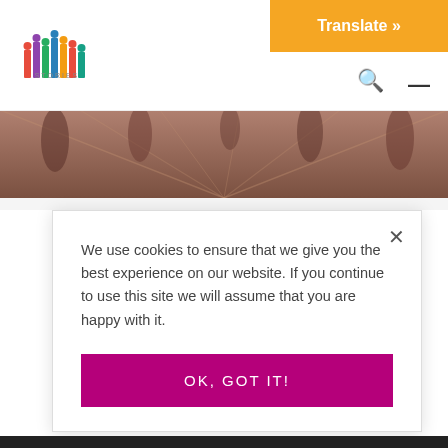[Figure (logo): Colorful vertical bar logo (Stories)]
[Figure (other): Orange Translate button with white bold text 'Translate »' in top right corner]
[Figure (photo): Blurred photo of people walking on a tiled surface, sepia/brownish tone, used as hero banner]
We use cookies to ensure that we give you the best experience on our website. If you continue to use this site we will assume that you are happy with it.
OK, GOT IT!